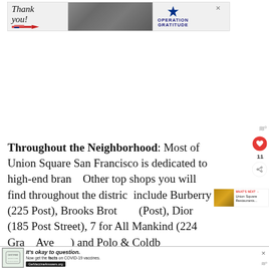[Figure (screenshot): Top banner advertisement: 'Thank you!' with a pencil graphic on the left, a military/soldier photo in the middle, and 'OPERATION GRATITUDE' logo with a star on the right. An X close button appears in the top-right corner.]
Throughout the Neighborhood: Most of Union Square San Francisco is dedicated to high-end brand... Other top shops you will find throughout the district include Burberry (225 Post), Brooks Brothers... Post), Dior (185 Post Street), 7 for All Mankind (224 Gra... Avenue) and Polo & Coldwater (188 Grant Avenue)...
[Figure (screenshot): Bottom overlay advertisement: 'It's okay to question. Now get the facts on COVID-19 vaccines. GetVaccineAnswers.org' with a stamp-like logo on the left and a dark CTA button. An X close button on the right.]